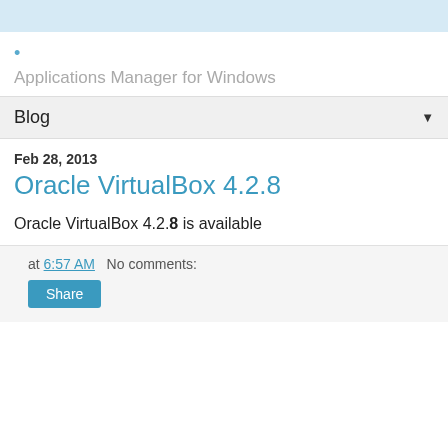•
Applications Manager for Windows
Blog
Feb 28, 2013
Oracle VirtualBox 4.2.8
Oracle VirtualBox 4.2.8 is available
at 6:57 AM   No comments:
Share